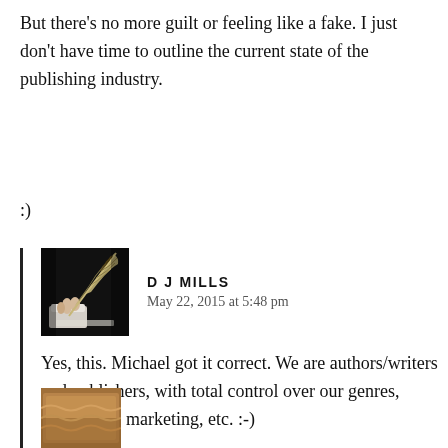But there’s no more guilt or feeling like a fake. I just don’t have time to outline the current state of the publishing industry.
:)
D J MILLS
May 22, 2015 at 5:48 pm
[Figure (photo): Avatar photo of D J Mills showing a hand writing with a quill feather pen on paper, dark background]
Yes, this. Michael got it correct. We are authors/writers and publishers, with total control over our genres, publishing, marketing, etc. :-)
[Figure (photo): Partially visible avatar image at bottom of page, brownish tones, cut off]